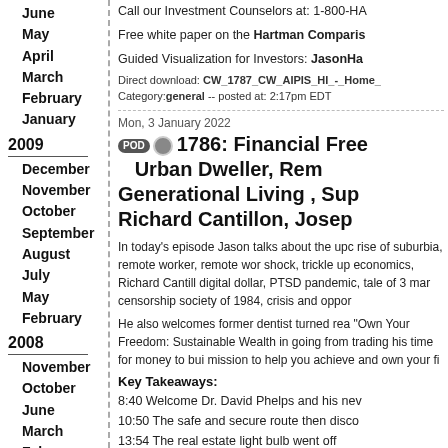June
May
April
March
February
January
2009
December
November
October
September
August
July
May
February
2008
November
October
June
March
February
January
2007
November
August
July
June
Call our Investment Counselors at: 1-800-HA
Free white paper on the Hartman Comparis
Guided Visualization for Investors: JasonHa
Direct download: CW_1787_CW_AIPIS_HI_-_Home_
Category:general -- posted at: 2:17pm EDT
Mon, 3 January 2022
1786: Financial Free Urban Dweller, Rem Generational Living , Sup Richard Cantillon, Josep
In today's episode Jason talks about the upc rise of suburbia, remote worker, remote wor shock, trickle up economics, Richard Cantill digital dollar, PTSD pandemic, tale of 3 mar censorship society of 1984, crisis and oppor
He also welcomes former dentist turned rea "Own Your Freedom: Sustainable Wealth in going from trading his time for money to bui mission to help you achieve and own your fi
Key Takeaways:
8:40 Welcome Dr. David Phelps and his nev
10:50 The safe and secure route then disco
13:54 The real estate light bulb went off